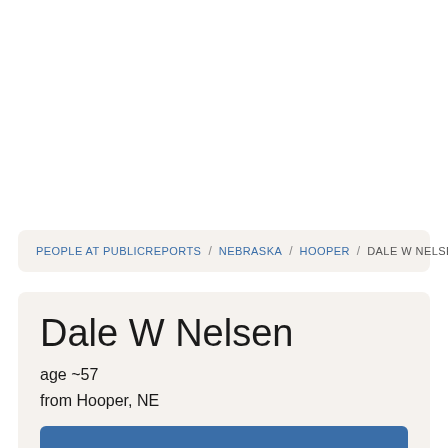PEOPLE AT PUBLICREPORTS / NEBRASKA / HOOPER / DALE W NELSEN
Dale W Nelsen
age ~57
from Hooper, NE